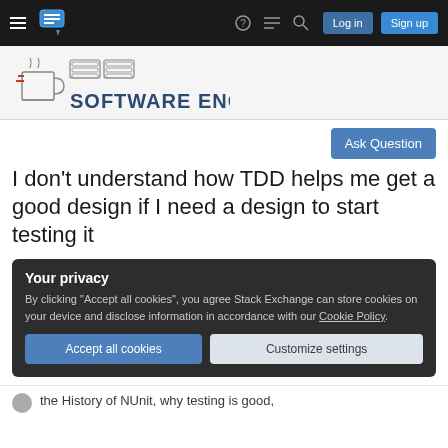Software Engineering Stack Exchange — navigation bar with Log in and Sign up buttons
[Figure (logo): Software Engineering Stack Exchange site logo with coffee mug and server rack illustration]
Ask Question
I don't understand how TDD helps me get a good design if I need a design to start testing it
Your privacy
By clicking "Accept all cookies", you agree Stack Exchange can store cookies on your device and disclose information in accordance with our Cookie Policy.
Accept all cookies  Customize settings
the History of NUnit, why testing is good,